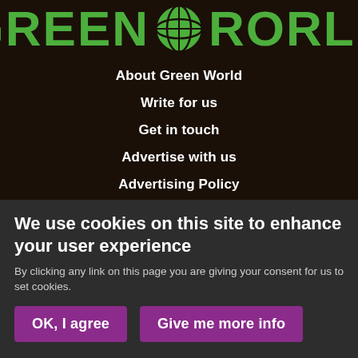[Figure (logo): Green World logo with large bold green text reading 'GREEN WORLD' and a globe icon replacing the 'O' in WORLD]
About Green World
Write for us
Get in touch
Advertise with us
Advertising Policy
Cookie Policy
Privacy Policy
Terms and conditions
We use cookies on this site to enhance your user experience
By clicking any link on this page you are giving your consent for us to set cookies.
OK, I agree
Give me more info